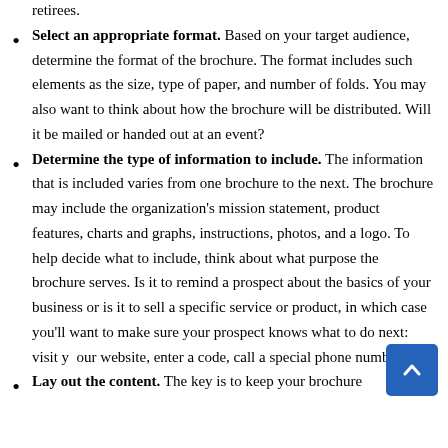retirees.
Select an appropriate format. Based on your target audience, determine the format of the brochure. The format includes such elements as the size, type of paper, and number of folds. You may also want to think about how the brochure will be distributed. Will it be mailed or handed out at an event?
Determine the type of information to include. The information that is included varies from one brochure to the next. The brochure may include the organization's mission statement, product features, charts and graphs, instructions, photos, and a logo. To help decide what to include, think about what purpose the brochure serves. Is it to remind a prospect about the basics of your business or is it to sell a specific service or product, in which case you'll want to make sure your prospect knows what to do next: visit your website, enter a code, call a special phone number, etc.
Lay out the content. The key is to keep your brochure